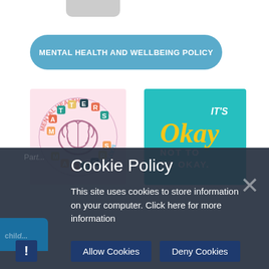MENTAL HEALTH AND WELLBEING POLICY
[Figure (illustration): Mental Health Matters illustration with brain graphic in pink circle with colorful text]
[Figure (illustration): It's Okay Not To Be Okay text graphic on teal background]
Cookie Policy
This site uses cookies to store information on your computer. Click here for more information
Allow Cookies   Deny Cookies